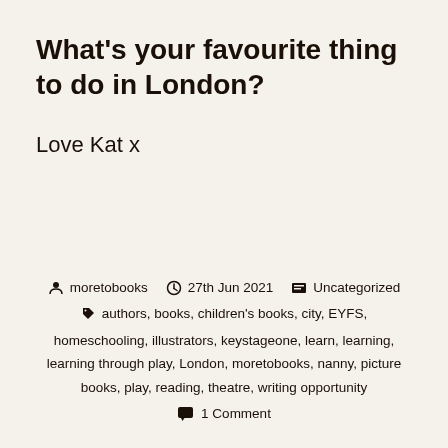What's your favourite thing to do in London?
Love Kat x
moretobooks  27th Jun 2021  Uncategorized  authors, books, children's books, city, EYFS, homeschooling, illustrators, keystageone, learn, learning, learning through play, London, moretobooks, nanny, picture books, play, reading, theatre, writing opportunity  1 Comment